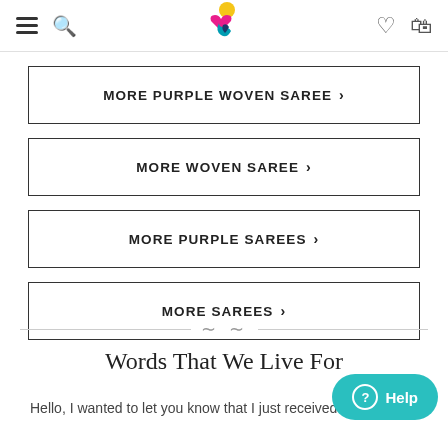Navigation header with hamburger menu, search, logo, heart and bag icons
MORE PURPLE WOVEN SAREE >
MORE WOVEN SAREE >
MORE PURPLE SAREES >
MORE SAREES >
Words That We Live For
Hello, I wanted to let you know that I just received th...